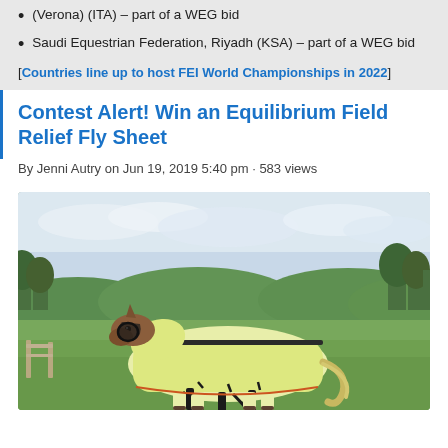(Verona) (ITA) – part of a WEG bid
Saudi Equestrian Federation, Riyadh (KSA) – part of a WEG bid
[Countries line up to host FEI World Championships in 2022]
Contest Alert! Win an Equilibrium Field Relief Fly Sheet
By Jenni Autry on Jun 19, 2019 5:40 pm · 583 views
[Figure (photo): A horse wearing a light yellow/cream Equilibrium Field Relief Fly Sheet with black trim and straps, standing in a green field with trees and cloudy sky in the background.]